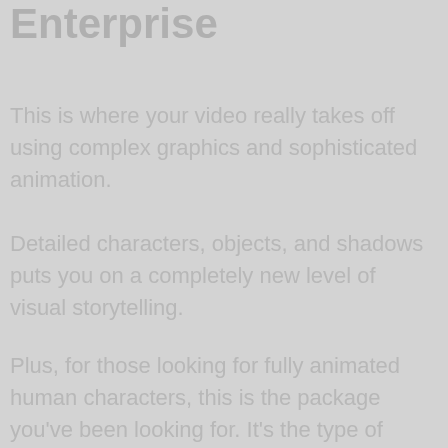Enterprise
This is where your video really takes off using complex graphics and sophisticated animation.
Detailed characters, objects, and shadows puts you on a completely new level of visual storytelling.
Plus, for those looking for fully animated human characters, this is the package you've been looking for. It's the type of video that will blow away your audience… while making the competition green with